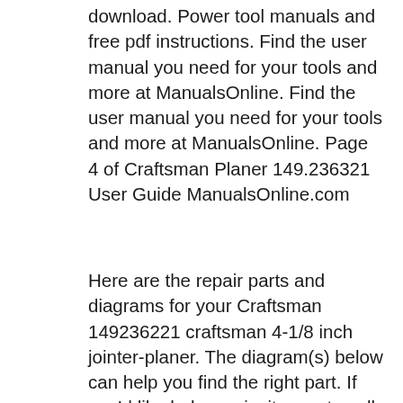download. Power tool manuals and free pdf instructions. Find the user manual you need for your tools and more at ManualsOnline. Find the user manual you need for your tools and more at ManualsOnline. Page 4 of Craftsman Planer 149.236321 User Guide ManualsOnline.com
Here are the repair parts and diagrams for your Craftsman 149236221 craftsman 4-1/8 inch jointer-planer. The diagram(s) below can help you find the right part. If you'd like help, we invite you to call our customer service number at the top of the page, or click chat. Power tool manuals and free pdf instructions. Find the user manual you